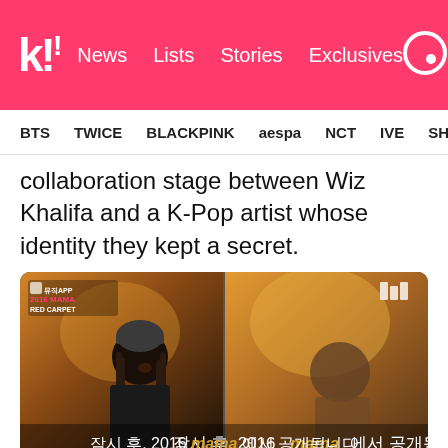K! News Lists Stories Exclusives
BTS TWICE BLACKPINK aespa NCT IVE SHIN...
collaboration stage between Wiz Khalifa and a K-Pop artist whose identity they kept a secret.
[Figure (screenshot): Split-screen video still showing Wiz Khalifa on the left (man with dreadlocks and beanie hat, speaking) and a blurry silhouette on the right, with Korean subtitle text: 잠시 후, 2016 MAMA 에서 공개됩니다. The image has a MAMA RED CARPET badge in the top left corner.]
Due to some leaked rehearsal footage, fans